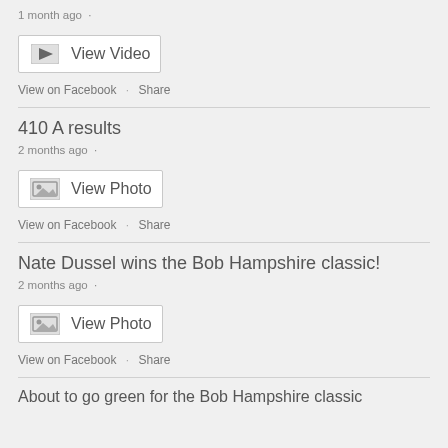1 month ago
[Figure (screenshot): View Video button with camera icon]
View on Facebook · Share
410 A results
2 months ago
[Figure (screenshot): View Photo button with image icon]
View on Facebook · Share
Nate Dussel wins the Bob Hampshire classic!
2 months ago
[Figure (screenshot): View Photo button with image icon]
View on Facebook · Share
About to go green for the Bob Hampshire classic